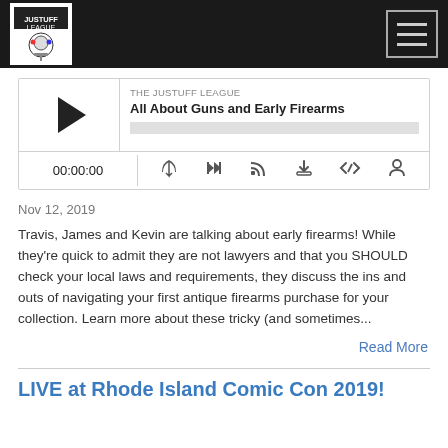THE JUSTUFF LEAGUE
[Figure (screenshot): Audio player widget for podcast episode 'All About Guns and Early Firearms' by The Justuff League, showing play button, progress bar, timestamp 00:00:00, and control icons]
Nov 12, 2019
Travis, James and Kevin are talking about early firearms! While they're quick to admit they are not lawyers and that you SHOULD check your local laws and requirements, they discuss the ins and outs of navigating your first antique firearms purchase for your collection. Learn more about these tricky (and sometimes...
Read More
LIVE at Rhode Island Comic Con 2019!